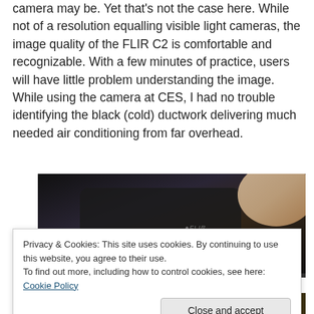camera may be. Yet that's not the case here. While not of a resolution equalling visible light cameras, the image quality of the FLIR C2 is comfortable and recognizable. With a few minutes of practice, users will have little problem understanding the image. While using the camera at CES, I had no trouble identifying the black (cold) ductwork delivering much needed air conditioning from far overhead.
[Figure (photo): A hand holding a FLIR C2 thermal camera showing its small display screen with temperature reading of 71.6°F]
Privacy & Cookies: This site uses cookies. By continuing to use this website, you agree to their use.
To find out more, including how to control cookies, see here: Cookie Policy
[Figure (photo): Partial view of a crowd photo at the bottom of the page]